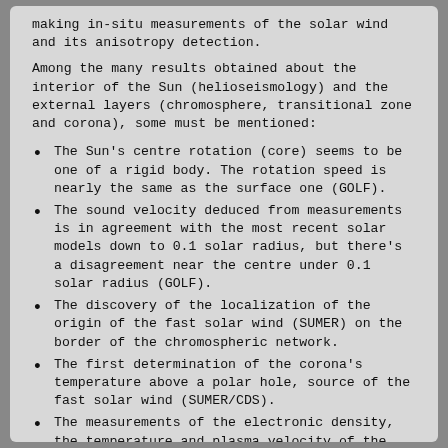making in-situ measurements of the solar wind and its anisotropy detection.
Among the many results obtained about the interior of the Sun (helioseismology) and the external layers (chromosphere, transitional zone and corona), some must be mentioned:
The Sun's centre rotation (core) seems to be one of a rigid body. The rotation speed is nearly the same as the surface one (GOLF).
The sound velocity deduced from measurements is in agreement with the most recent solar models down to 0.1 solar radius, but there's a disagreement near the centre under 0.1 solar radius (GOLF).
The discovery of the localization of the origin of the fast solar wind (SUMER) on the border of the chromospheric network.
The first determination of the corona's temperature above a polar hole, source of the fast solar wind (SUMER/CDS).
The measurements of the electronic density, the temperature and plasma velocity of the transitional regions in different structures (SUMER/CDS).
The very great temporal instability of the Sun at all spatial